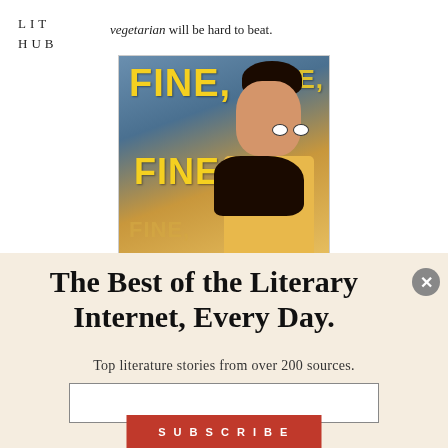LIT HUB
vegetarian will be hard to beat.
[Figure (illustration): Book cover showing text 'FINE, FINE, FINE,' in yellow letters with illustrated man in yellow shirt with dark hair]
The Best of the Literary Internet, Every Day.
Top literature stories from over 200 sources.